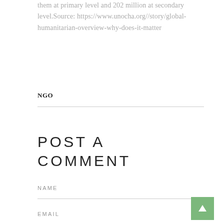them at primary level and 202 million at secondary level.Source: https://www.unocha.org//story/global-humanitarian-overview-why-does-it-matter
NGO
POST A COMMENT
NAME
EMAIL